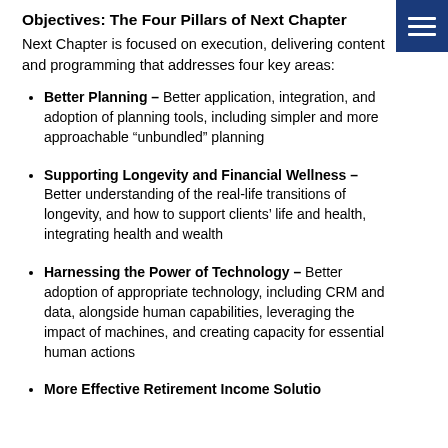Objectives: The Four Pillars of Next Chapter
Next Chapter is focused on execution, delivering content and programming that addresses four key areas:
Better Planning – Better application, integration, and adoption of planning tools, including simpler and more approachable “unbundled” planning
Supporting Longevity and Financial Wellness – Better understanding of the real-life transitions of longevity, and how to support clients’ life and health, integrating health and wealth
Harnessing the Power of Technology – Better adoption of appropriate technology, including CRM and data, alongside human capabilities, leveraging the impact of machines, and creating capacity for essential human actions
More Effective Retirement Income Solutions